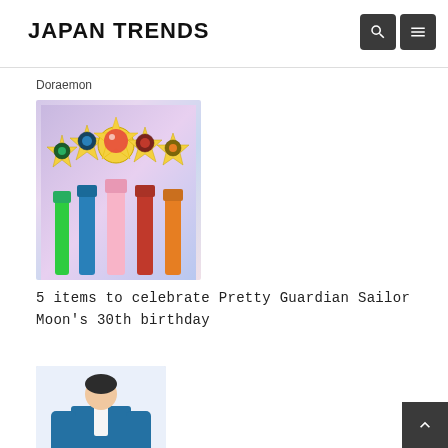JAPAN TRENDS
Doraemon
[Figure (photo): Five colorful Sailor Moon transformation wands/sticks in green, blue, pink, red, and gold/yellow colors with ornate star-shaped tops featuring gemstones, displayed against a soft pastel background.]
5 items to celebrate Pretty Guardian Sailor Moon's 30th birthday
[Figure (photo): A person wearing a blue traditional Japanese kimono-style robe, walking forward, shown from roughly waist to feet level, wearing black boots.]